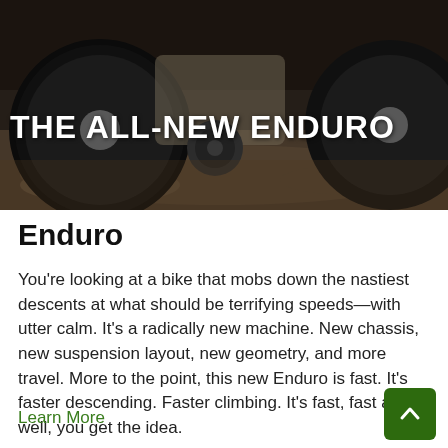[Figure (photo): Close-up photo of mountain bike wheels and frame on rocky/dirt terrain, dark moody tones, with bold white text overlay reading THE ALL-NEW ENDURO]
Enduro
You're looking at a bike that mobs down the nastiest descents at what should be terrifying speeds—with utter calm. It's a radically new machine. New chassis, new suspension layout, new geometry, and more travel. More to the point, this new Enduro is fast. It's faster descending. Faster climbing. It's fast, fast as.... well, you get the idea.
Learn More